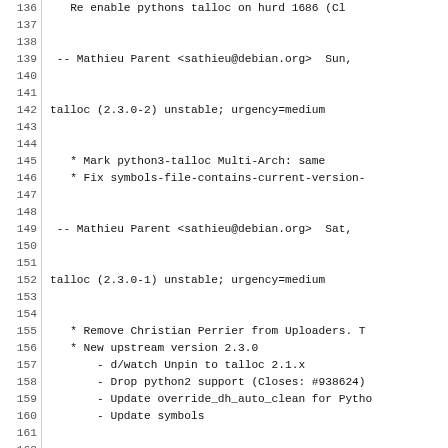Code/changelog listing lines 136-166 showing Debian changelog entries for talloc package versions 2.3.0-2, 2.3.0-1, and 2.1.16-3
138: -- Mathieu Parent <sathieu@debian.org>  Sun,
140: talloc (2.3.0-2) unstable; urgency=medium
142:   * Mark python3-talloc Multi-Arch: same
143:   * Fix symbols-file-contains-current-version-
145: -- Mathieu Parent <sathieu@debian.org>  Sat,
147: talloc (2.3.0-1) unstable; urgency=medium
149:   * Remove Christian Perrier from Uploaders. T
150:   * New upstream version 2.3.0
151:       - d/watch Unpin to talloc 2.1.x
152:       - Drop python2 support (Closes: #938624)
153:       - Update override_dh_auto_clean for Python
154:       - Update symbols
156: -- Mathieu Parent <sathieu@debian.org>  Fri,
158: talloc (2.1.16-3) unstable; urgency=medium
160:   * Upload to unstable
161:   * Update salsa-ci.yml
162:   * d/copyright:
163:       - Replace LGPL-3+ by LGPL-3.0+
164:       - Update LGPL-3.0+ notice
165:   * Standards-Version: 4.4.0
166:   * Bump debhelper from old 11 to 12